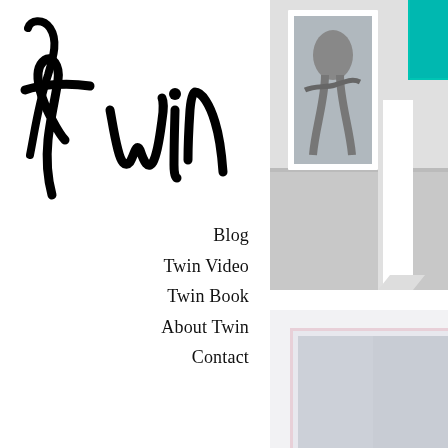Twin
Blog
Twin Video
Twin Book
About Twin
Contact
[Figure (photo): Art gallery installation photo showing framed artworks on walls, one with a black and white figure, one with teal/turquoise color, on grey floor]
[Figure (photo): Abstract minimalist photo of white and light grey rectangular panels with subtle pink border]